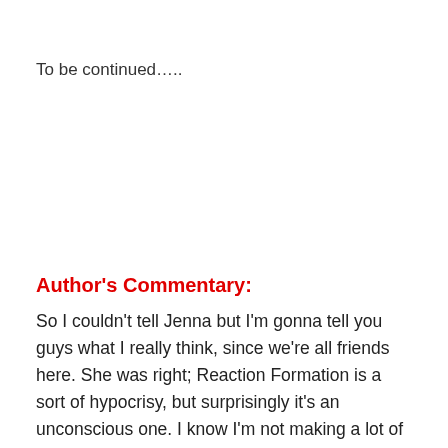To be continued…..
Author's Commentary:
So I couldn't tell Jenna but I'm gonna tell you guys what I really think, since we're all friends here. She was right; Reaction Formation is a sort of hypocrisy, but surprisingly it's an unconscious one. I know I'm not making a lot of sense but go with me coz it's a very thin line.
When people try to cover up undesirable feelings or